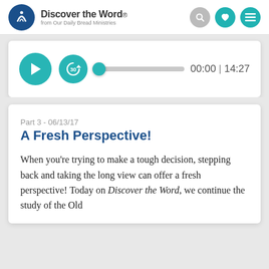Discover the Word. from Our Daily Bread Ministries
[Figure (screenshot): Audio player with play button, replay 30 seconds button, progress bar, and time display showing 00:00 | 14:27]
Part 3 - 06/13/17
A Fresh Perspective!
When you’re trying to make a tough decision, stepping back and taking the long view can offer a fresh perspective! Today on Discover the Word, we continue the study of the Old